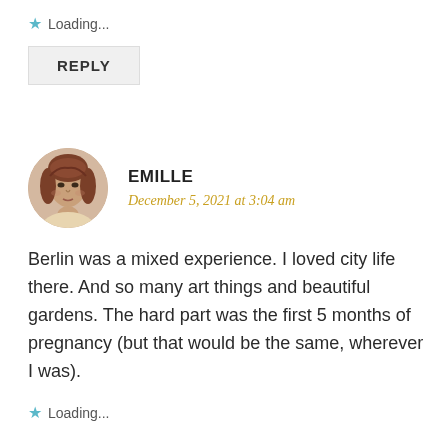★ Loading...
REPLY
[Figure (photo): Circular avatar photo of a woman with reddish-brown hair]
EMILLE
December 5, 2021 at 3:04 am
Berlin was a mixed experience. I loved city life there. And so many art things and beautiful gardens. The hard part was the first 5 months of pregnancy (but that would be the same, wherever I was).
★ Loading...